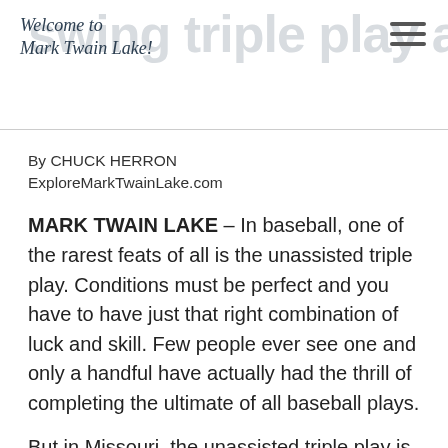swing triple play at Mark Twain Lake | Welcome to Mark Twain Lake!
By CHUCK HERRON
ExploreMarkTwainLake.com
MARK TWAIN LAKE – In baseball, one of the rarest feats of all is the unassisted triple play. Conditions must be perfect and you have to have just that right combination of luck and skill. Few people ever see one and only a handful have actually had the thrill of completing the ultimate of all baseball plays.
But in Missouri, the unassisted triple play is no big deal. In fact, each spring, thousands of sportsmen